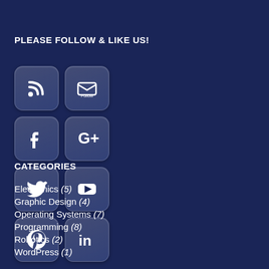PLEASE FOLLOW & LIKE US!
[Figure (infographic): 8 social media icon buttons in a 4x2 grid: RSS, Email/Follow, Facebook, Google+, Twitter, YouTube, Pinterest, LinkedIn]
CATEGORIES
Electronics (5)
Graphic Design (4)
Operating Systems (7)
Programming (8)
Robotics (2)
WordPress (1)